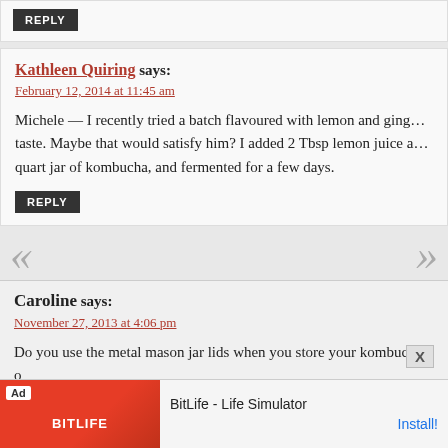REPLY
Kathleen Quiring says:
February 12, 2014 at 11:45 am
Michele — I recently tried a batch flavoured with lemon and ginger taste. Maybe that would satisfy him? I added 2 Tbsp lemon juice a quart jar of kombucha, and fermented for a few days.
REPLY
Caroline says:
November 27, 2013 at 4:06 pm
Do you use the metal mason jar lids when you store your kombucha, o Do you use them for the 2nd fermentation process? Thanks for the art successfully grown my own SCOBY from store-bought kombuc
[Figure (screenshot): BitLife - Life Simulator advertisement banner at bottom of page]